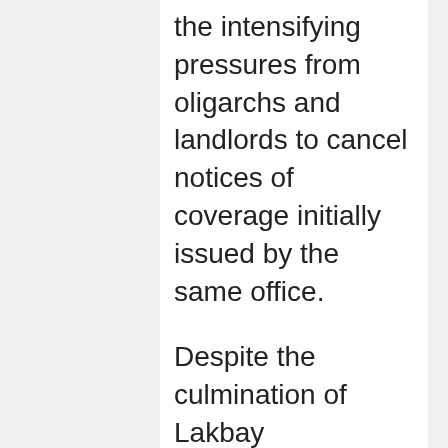the intensifying pressures from oligarchs and landlords to cancel notices of coverage initially issued by the same office.
Despite the culmination of Lakbay Magsasaka last Oct. 25, TADECO farmers have decided to remain in their camp in front of DAR to pressure DAR to issue the writs of installation.
Up to this day, they have received no response from